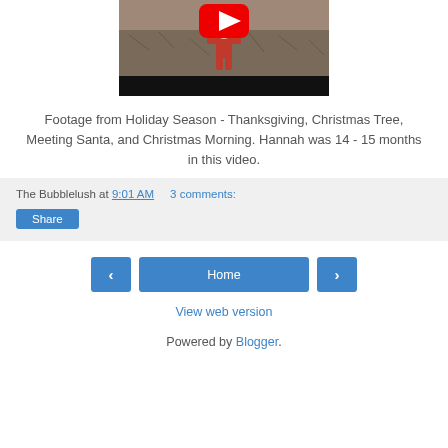[Figure (screenshot): YouTube video thumbnail showing a child dressed in red with a YouTube play button overlay, standing outdoors. Black control bar at bottom.]
Footage from Holiday Season - Thanksgiving, Christmas Tree, Meeting Santa, and Christmas Morning. Hannah was 14 - 15 months in this video.
The Bubblelush at 9:01 AM   3 comments:
Share
Home
View web version
Powered by Blogger.